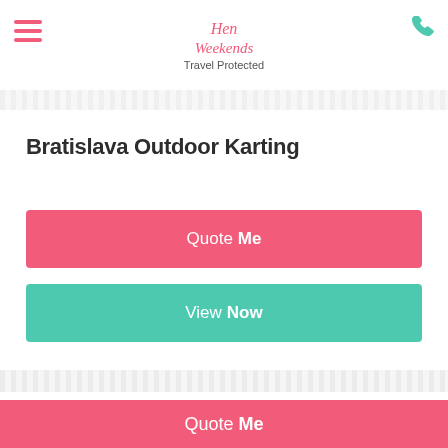Hen Weekends / Travel Protected
Bratislava Outdoor Karting
Quote Me
View Now
Brno Outdoor Karting
Quote Me
View Now
Quote Me